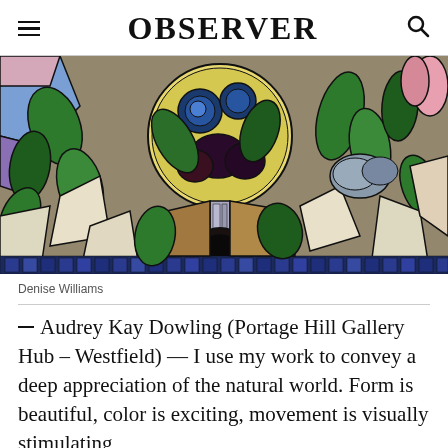OBSERVER
[Figure (photo): Close-up photograph of a colorful stained glass artwork featuring floral and leaf motifs in green, blue, yellow, brown and cream tones with dark leading lines.]
Denise Williams
¯ Audrey Kay Dowling (Portage Hill Gallery Hub – Westfield) — I use my work to convey a deep appreciation of the natural world. Form is beautiful, color is exciting, movement is visually stimulating,